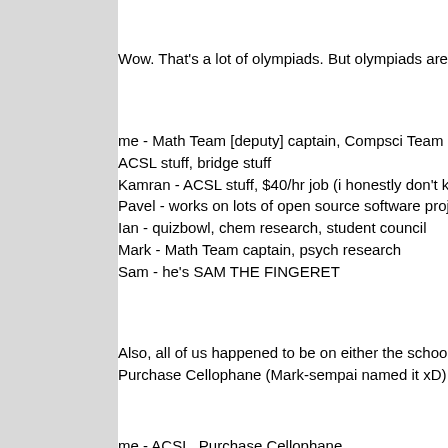Wow. That's a lot of olympiads. But olympiads aren't every...
me - Math Team [deputy] captain, Compsci Team Founder,
ACSL stuff, bridge stuff
Kamran - ACSL stuff, $40/hr job (i honestly don't know wha...
Pavel - works on lots of open source software projects, che...
Ian - quizbowl, chem research, student council
Mark - Math Team captain, psych research
Sam - he's SAM THE FINGERET
Also, all of us happened to be on either the school's 2009 A...
Purchase Cellophane (Mark-sempai named it xD)
me - ACSL, Purchase Cellophane
Kamran - ACSL
Pavel - Purchase Cellophane
Ian - Purchase Cellophane
Mark - Purchase Cellophane
Sam - ACSL, Purchase Cellophane
[Aside: If you need extra practice in set theory, solve the...